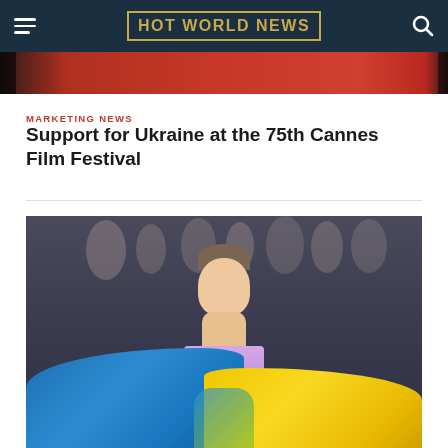HOT WORLD NEWS
[Figure (photo): Cropped top portion of a red carpet or event photo at top of page]
MARKETING NEWS
Support for Ukraine at the 75th Cannes Film Festival
[Figure (photo): Woman in a blue and yellow tulle gown (Ukrainian flag colors) on the Cannes Film Festival red carpet, with a crowd of photographers and attendees in the background]